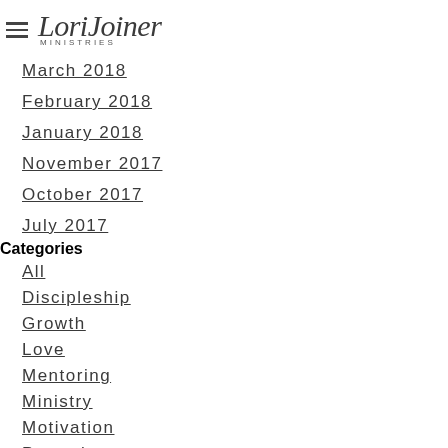Lori Joiner Ministries
March 2018
February 2018
January 2018
November 2017
October 2017
July 2017
Categories
All
Discipleship
Growth
Love
Mentoring
Ministry
Motivation
Parenting